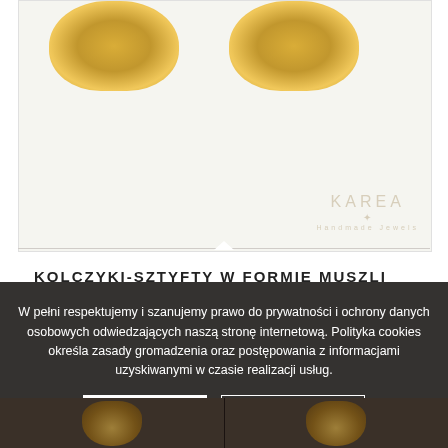[Figure (photo): Product image area showing two golden shell-shaped earrings on a light background with KAREA brand logo watermark in the bottom right]
KOLCZYKI-SZTYFTY W FORMIE MUSZLI
W pełni respektujemy i szanujemy prawo do prywatności i ochrony danych osobowych odwiedzających naszą stronę internetową. Polityka cookies określa zasady gromadzenia oraz postępowania z informacjami uzyskiwanymi w czasie realizacji usług.
Rozumiem
Polityka cookies
[Figure (photo): Bottom strip showing two partial product images of golden shell earrings on dark background]